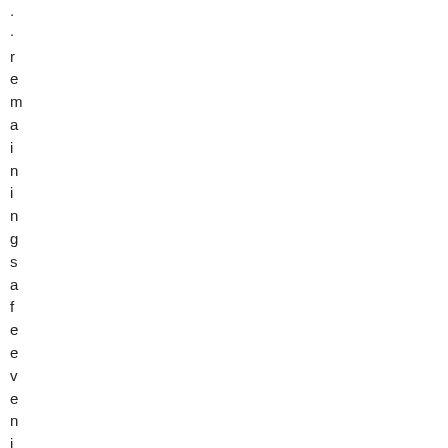.remaining safe even if your mana